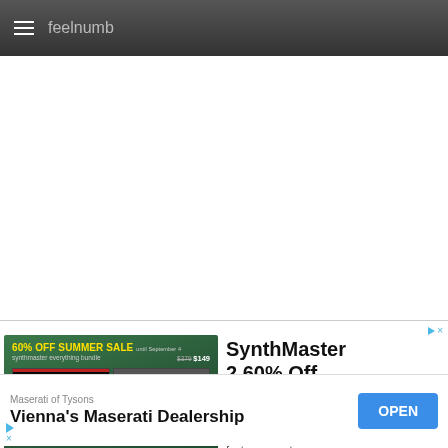feelnumb
[Figure (screenshot): Advertisement for SynthMaster 2 60% Off - SynthMaster 1+2 Bundle comes with 3200 NKS compatible factory presets. 60% OFF SUMMER SALE until September 4, synthmaster everything bundle $379 $149, 6200+ presets out of the box. KV331 Audio Shop Now >]
[Figure (screenshot): Advertisement for Maserati of Tysons - Vienna's Maserati Dealership with OPEN button]